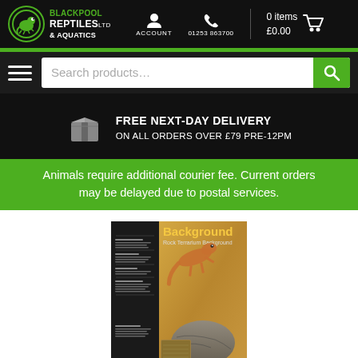Blackpool Reptiles Ltd & Aquatics | ACCOUNT | 01253 863700 | 0 items £0.00
[Figure (screenshot): Search bar with hamburger menu and green search button]
FREE NEXT-DAY DELIVERY ON ALL ORDERS OVER £79 PRE-12PM
Animals require additional courier fee. Current orders may be delayed due to postal services.
[Figure (photo): Product packaging for Exo Terra Rock Terrarium Background showing a lizard on sandy rocks]